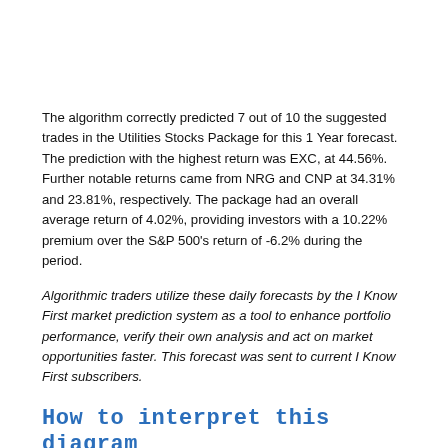The algorithm correctly predicted 7 out of 10 the suggested trades in the Utilities Stocks Package for this 1 Year forecast. The prediction with the highest return was EXC, at 44.56%. Further notable returns came from NRG and CNP at 34.31% and 23.81%, respectively. The package had an overall average return of 4.02%, providing investors with a 10.22% premium over the S&P 500's return of -6.2% during the period.
Algorithmic traders utilize these daily forecasts by the I Know First market prediction system as a tool to enhance portfolio performance, verify their own analysis and act on market opportunities faster. This forecast was sent to current I Know First subscribers.
How to interpret this diagram
Algorithmic Stock Forecast: The table on the left is a stock forecast produced by I Know First's algorithm. Each day,